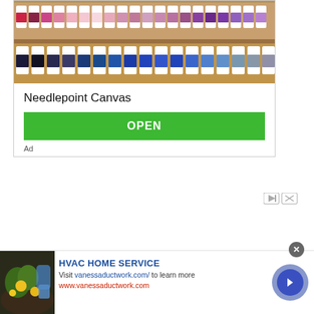[Figure (photo): Display of colorful needlepoint thread spools/bobbins arranged on a rack — rows of pink, red, purple tones on top, and navy/blue tones on the bottom row]
Needlepoint Canvas
OPEN
Ad
[Figure (other): Ad controls: play and close (X) buttons]
[Figure (photo): Hands gardening in soil with yellow dandelion flowers]
HVAC HOME SERVICE
Visit vanessaductwork.com/ to learn more
www.vanessaductwork.com